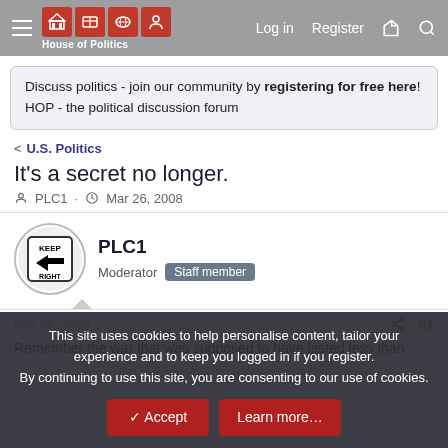House of Politics — Log in  Register
Discuss politics - join our community by registering for free here! HOP - the political discussion forum
< U.S. Politics
It's a secret no longer.
PLC1 · Mar 26, 2008
PLC1 Moderator Staff member
Mar 26, 2008  #1
Remember the war that was supposed to have lasted less than
This site uses cookies to help personalise content, tailor your experience and to keep you logged in if you register.
By continuing to use this site, you are consenting to our use of cookies.
✓ Accept    Learn more…